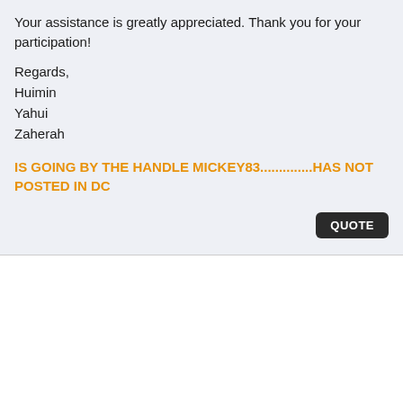Your assistance is greatly appreciated. Thank you for your participation!
Regards,
Huimin
Yahui
Zaherah
IS GOING BY THE HANDLE MICKEY83..............HAS NOT POSTED IN DC